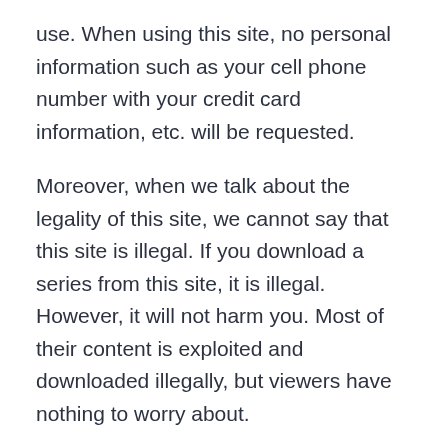use. When using this site, no personal information such as your cell phone number with your credit card information, etc. will be requested.
Moreover, when we talk about the legality of this site, we cannot say that this site is illegal. If you download a series from this site, it is illegal. However, it will not harm you. Most of their content is exploited and downloaded illegally, but viewers have nothing to worry about.
Similar sites to kissanime.
Since kissanime is an illegal site, most ISPs in different countries have blocked it completely. Therefore, these countries' question is which other cartoon sites can be